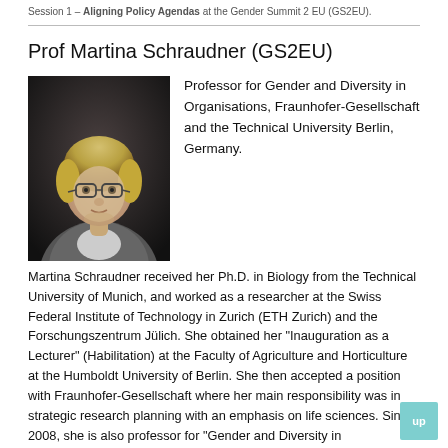Session 1 – Aligning Policy Agendas at the Gender Summit 2 EU (GS2EU).
Prof Martina Schraudner (GS2EU)
[Figure (photo): Black and white portrait photo of Prof Martina Schraudner, a woman with short light hair and glasses, wearing a jacket.]
Professor for Gender and Diversity in Organisations, Fraunhofer-Gesellschaft and the Technical University Berlin, Germany.
Martina Schraudner received her Ph.D. in Biology from the Technical University of Munich, and worked as a researcher at the Swiss Federal Institute of Technology in Zurich (ETH Zurich) and the Forschungszentrum Jülich. She obtained her "Inauguration as a Lecturer" (Habilitation) at the Faculty of Agriculture and Horticulture at the Humboldt University of Berlin. She then accepted a position with Fraunhofer-Gesellschaft where her main responsibility was in strategic research planning with an emphasis on life sciences. Since 2008, she is also professor for "Gender and Diversity in Organisations" at the Technical University of Berlin. Martina Schraudner has participated in a number of initiatives related to the "Partners for Innovation" project and for the development of a high-tech strategy for Germany. She is member of the Hochschulrat of the Paderborn University and is board member of the Kompetenzzentrum Diversity e.V. and Total E-Quality e.V.